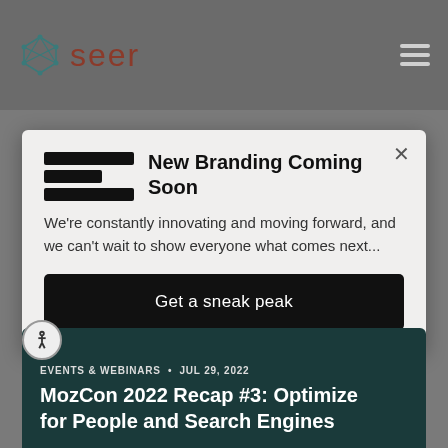seer
New Branding Coming Soon
We're constantly innovating and moving forward, and we can't wait to show everyone what comes next...
Get a sneak peak
EVENTS & WEBINARS • JUL 29, 2022
MozCon 2022 Recap #3: Optimize for People and Search Engines